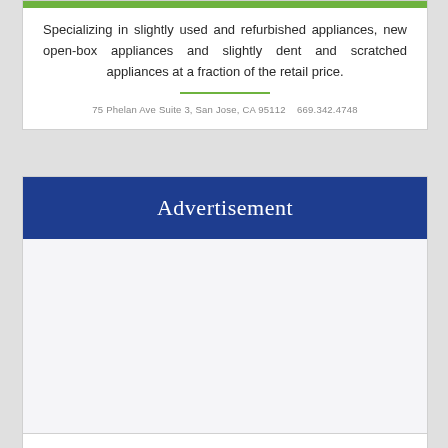Specializing in slightly used and refurbished appliances, new open-box appliances and slightly dent and scratched appliances at a fraction of the retail price.
75 Phelan Ave Suite 3, San Jose, CA 95112    669.342.4748
Advertisement
[Figure (other): Empty white advertisement space below the Advertisement header]